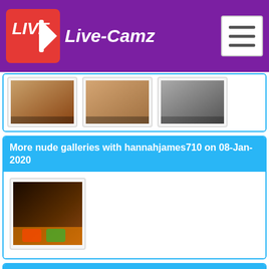Live-Camz
[Figure (photo): Three thumbnail images of webcam content, partially visible at top of page]
More nude galleries with hannahjames710 on 08-Jan-2020
[Figure (photo): Single thumbnail image for hannahjames710 08-Jan-2020 gallery]
More nude galleries with hannahjames710 on 29-Sep-2017
[Figure (photo): Three thumbnail images for hannahjames710 29-Sep-2017 gallery, partially visible at bottom]